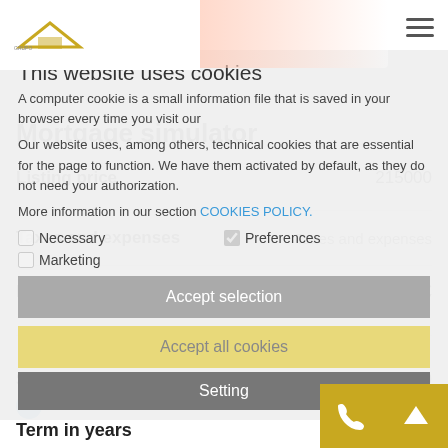[Figure (screenshot): Website cookie consent banner overlaid on a mortgage simulator web page. Logo visible top left with hamburger menu top right.]
This website uses cookies
A computer cookie is a small information file that is saved in your browser every time you visit our
Mortgage simulator
Our website uses, among others, technical cookies that are essential for the page to function. We have them activated by default, as they do not need your authorization.
More information in our section COOKIES POLICY.
Necessary
Preferences
Listing price  215000
Taxes and expenses  Taxes and expenses
Price + expenses  215.000 €
Savings provided  15000
Marketing
Accept selection
Accept all cookies
Term in years
Setting